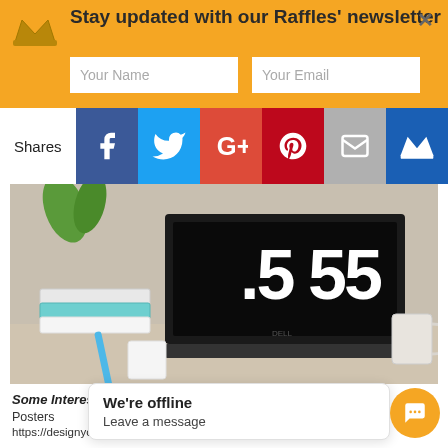Stay updated with our Raffles' newsletter
[Figure (screenshot): Social share bar with Facebook, Twitter, Google+, Pinterest, Email, and crown/bookmark icons. Shows 'Shares' label on left.]
[Figure (photo): Laptop on a desk showing a clock display with '55', surrounded by books, a plant, a pen, white object, and a mug on a light wooden desk surface.]
Some Interesting Links
Posters
https://designyoutrust.com/2020/03/art-against-virus-covid-19-posters-by-mexifunk/
https://www.we-heart.com/2020/04/07/designing-for-coronavirus-graphic-design-covid19/
5 essential study tips
https://www.youtube.c... ...tu.be